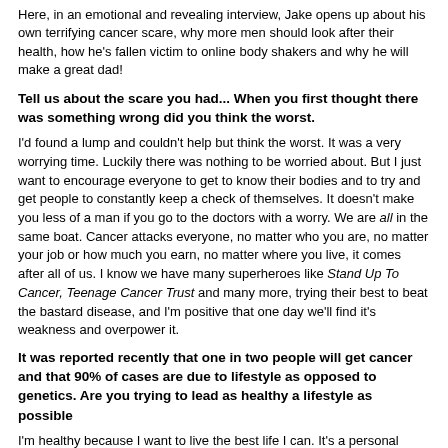Here, in an emotional and revealing interview, Jake opens up about his own terrifying cancer scare, why more men should look after their health, how he's fallen victim to online body shakers and why he will make a great dad!
Tell us about the scare you had... When you first thought there was something wrong did you think the worst.
I'd found a lump and couldn't help but think the worst. It was a very worrying time. Luckily there was nothing to be worried about. But I just want to encourage everyone to get to know their bodies and to try and get people to constantly keep a check of themselves. It doesn't make you less of a man if you go to the doctors with a worry. We are all in the same boat. Cancer attacks everyone, no matter who you are, no matter your job or how much you earn, no matter where you live, it comes after all of us. I know we have many superheroes like Stand Up To Cancer, Teenage Cancer Trust and many more, trying their best to beat the bastard disease, and I'm positive that one day we'll find it's weakness and overpower it.
It was reported recently that one in two people will get cancer and that 90% of cases are due to lifestyle as opposed to genetics. Are you trying to lead as healthy a lifestyle as possible
I'm healthy because I want to live the best life I can. It's a personal choice. My moto is everything in moderation. I refuse to feel scared or intimated by this disease.
Do you feel with having lost two loved ones that you literally make the most of